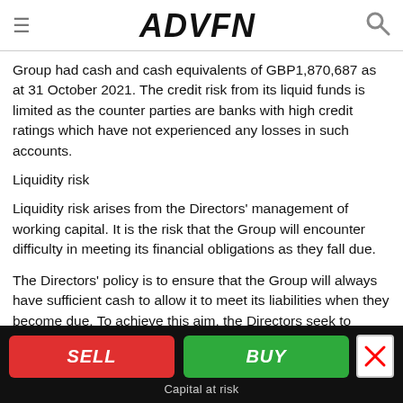ADVFN
Group had cash and cash equivalents of GBP1,870,687 as at 31 October 2021. The credit risk from its liquid funds is limited as the counter parties are banks with high credit ratings which have not experienced any losses in such accounts.
Liquidity risk
Liquidity risk arises from the Directors' management of working capital. It is the risk that the Group will encounter difficulty in meeting its financial obligations as they fall due.
The Directors' policy is to ensure that the Group will always have sufficient cash to allow it to meet its liabilities when they become due. To achieve this aim, the Directors seek to